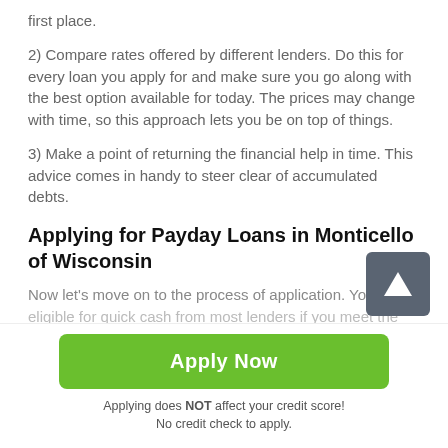first place.
2) Compare rates offered by different lenders. Do this for every loan you apply for and make sure you go along with the best option available for today. The prices may change with time, so this approach lets you be on top of things.
3) Make a point of returning the financial help in time. This advice comes in handy to steer clear of accumulated debts.
Applying for Payday Loans in Monticello of Wisconsin
Now let's move on to the process of application. You are eligible for quick cash from most lenders if you meet the
Apply Now
Applying does NOT affect your credit score!
No credit check to apply.